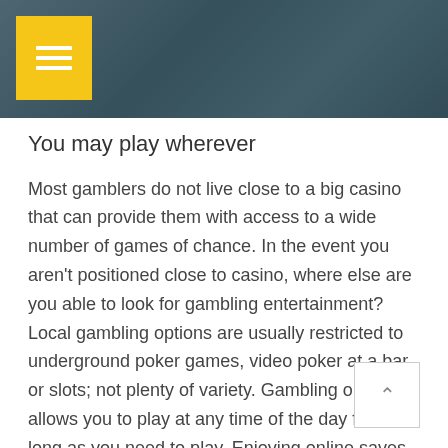[Figure (screenshot): Website header banner with dark teal/grey overlay background and a yellow hamburger menu button in the top-left corner]
You may play wherever
Most gamblers do not live close to a big casino that can provide them with access to a wide number of games of chance. In the event you aren't positioned close to casino, where else are you able to look for gambling entertainment? Local gambling options are usually restricted to underground poker games, video poker at a bar, or slots; not plenty of variety. Gambling online allows you to play at any time of the day for so long as you need to play. Enjoying online saves you gas and time.